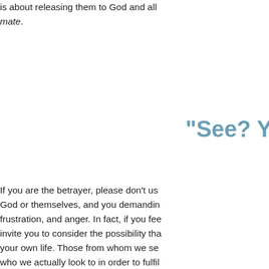what their choices have done, or are doing, is about releasing them to God and allowing mate.
"See? Y
If you are the betrayer, please don't us God or themselves, and you demandin frustration, and anger. In fact, if you fee invite you to consider the possibility tha your own life. Those from whom we se who we actually look to in order to fulfil
One of the ways that I look at forgivene we must sit down and prayerfully consi betrayal: loss of the idea of who are m Ultimately, it involves no longer holdin forgiveness is "Giving up all hope of ha